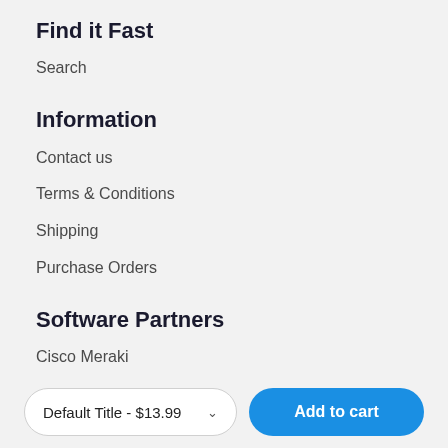Find it Fast
Search
Information
Contact us
Terms & Conditions
Shipping
Purchase Orders
Software Partners
Cisco Meraki
Microsoft
Default Title - $13.99
Add to cart